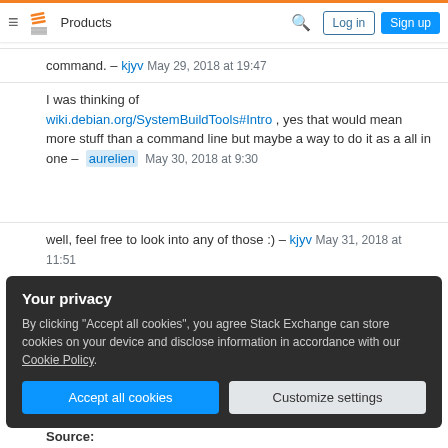Products | Log in | Sign up
command. – kjyv May 29, 2018 at 19:47
I was thinking of wiki.debian.org/SystemBuildTools#Intro , yes that would mean more stuff than a command line but maybe a way to do it as a all in one – aurelien May 30, 2018 at 9:30
well, feel free to look into any of those :) – kjyv May 31, 2018 at 11:51
Add a comment
Your privacy
By clicking "Accept all cookies", you agree Stack Exchange can store cookies on your device and disclose information in accordance with our Cookie Policy.
Accept all cookies    Customize settings
Source: